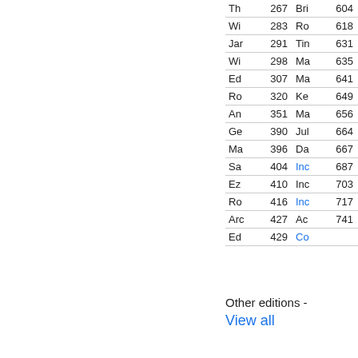| Name | Page | Name | Page |
| --- | --- | --- | --- |
| Th | 267 | Bri | 604 |
| Wi | 283 | Ro | 618 |
| Jar | 291 | Tin | 631 |
| Wi | 298 | Ma | 635 |
| Ed | 307 | Ma | 641 |
| Ro | 320 | Ke | 649 |
| An | 351 | Ma | 656 |
| Ge | 390 | Jul | 664 |
| Ma | 396 | Da | 667 |
| Sa | 404 | Inc | 687 |
| Ez | 410 | Inc | 703 |
| Ro | 416 | Inc | 717 |
| Arc | 427 | Ac | 741 |
| Ed | 429 | Co |  |
Other editions - View all